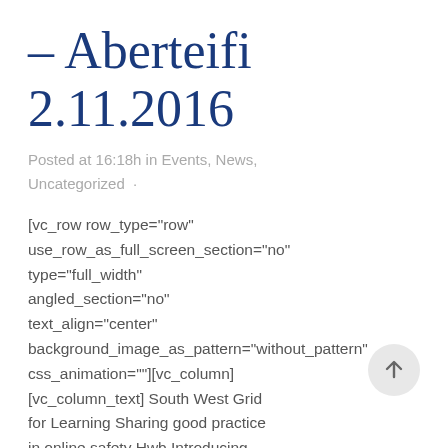– Aberteifi 2.11.2016
Posted at 16:18h in Events, News, Uncategorized ·
[vc_row row_type="row" use_row_as_full_screen_section="no" type="full_width" angled_section="no" text_align="center" background_image_as_pattern="without_pattern" css_animation=""][vc_column] [vc_column_text] South West Grid for Learning Sharing good practice in online safety Hwb Introducing new features and tools on Hwb